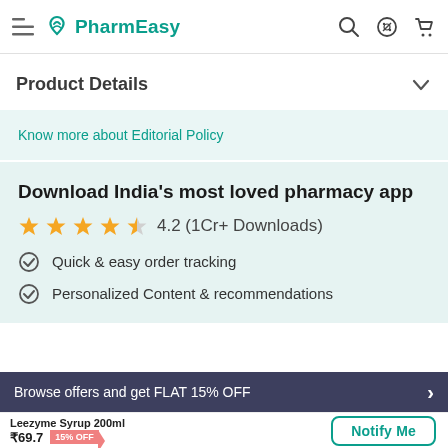PharmEasy
Product Details
Know more about Editorial Policy
Download India's most loved pharmacy app
4.2 (1Cr+ Downloads)
Quick & easy order tracking
Personalized Content & recommendations
Browse offers and get FLAT 15% OFF
Leezyme Syrup 200ml ₹69.7 15% OFF
Notify Me